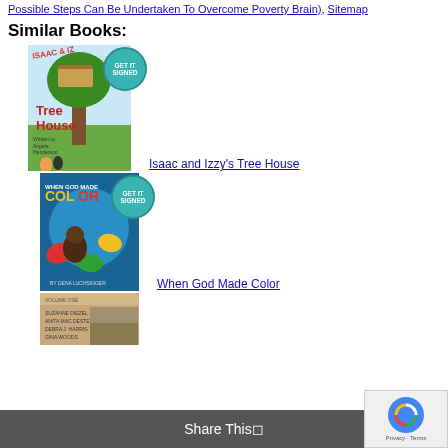Possible Steps Can Be Undertaken To Overcome Poverty Brain), ,Sitemap
Similar Books:
[Figure (illustration): Book cover for Isaac and Izzy's Tree House with GET IT SIGNED badge]
Isaac and Izzy's Tree House
[Figure (illustration): Book cover for When God Made Color with GET IT SIGNED badge]
When God Made Color
[Figure (illustration): Partial book cover (third similar book)]
Share This